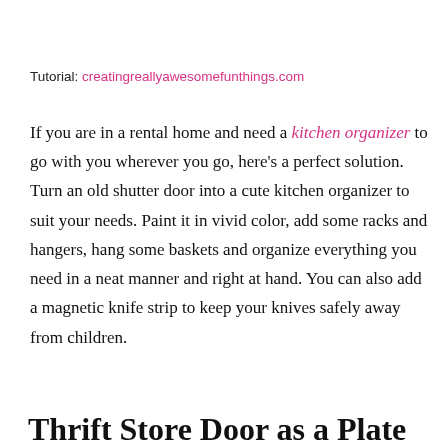Tutorial: creatingreallyawesomefunthings.com
If you are in a rental home and need a kitchen organizer to go with you wherever you go, here's a perfect solution. Turn an old shutter door into a cute kitchen organizer to suit your needs. Paint it in vivid color, add some racks and hangers, hang some baskets and organize everything you need in a neat manner and right at hand. You can also add a magnetic knife strip to keep your knives safely away from children.
Thrift Store Door as a Plate